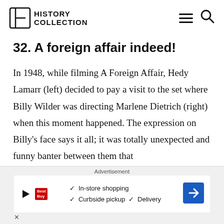HISTORY COLLECTION
32. A foreign affair indeed!
In 1948, while filming A Foreign Affair, Hedy Lamarr (left) decided to pay a visit to the set where Billy Wilder was directing Marlene Dietrich (right) when this moment happened. The expression on Billy's face says it all; it was totally unexpected and funny banter between them that
Advertisement